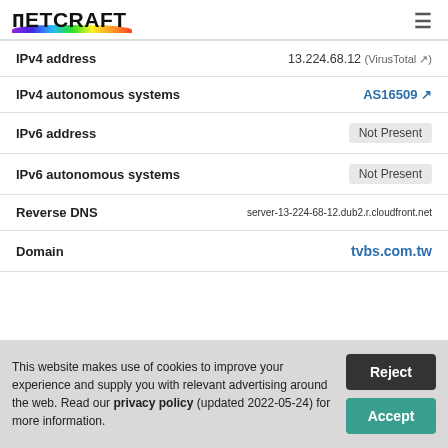Netcraft
| Field | Value |
| --- | --- |
| IPv4 address | 13.224.68.12 (VirusTotal) |
| IPv4 autonomous systems | AS16509 |
| IPv6 address | Not Present |
| IPv6 autonomous systems | Not Present |
| Reverse DNS | server-13-224-68-12.dub2.r.cloudfront.net |
| Domain | tvbs.com.tw |
This website makes use of cookies to improve your experience and supply you with relevant advertising around the web. Read our privacy policy (updated 2022-05-24) for more information.